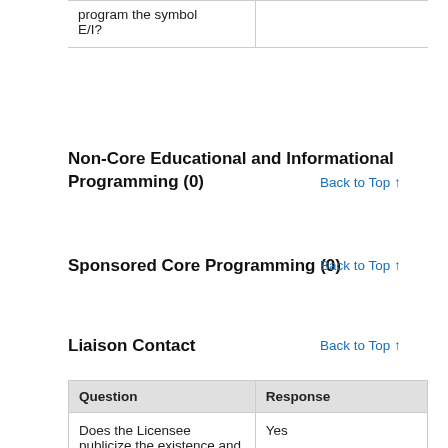|  |  |
| --- | --- |
| program the symbol E/I? |  |
Non-Core Educational and Informational Programming (0)
Back to Top ↑
Sponsored Core Programming (0)
Back to Top ↑
Liaison Contact
Back to Top ↑
| Question | Response |
| --- | --- |
| Does the Licensee publicize the existence and location of the... | Yes |